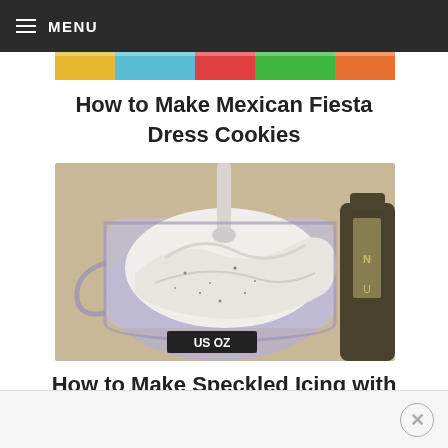MENU
[Figure (photo): Partial view of colorful decorated cookies at the top of the page]
How to Make Mexican Fiesta Dress Cookies
[Figure (photo): A blender cup filled with white speckled icing being mixed, with a bottle of vanilla bean paste in the background. The cup shows US OZ markings.]
How to Make Speckled Icing with Vanilla Bean Paste